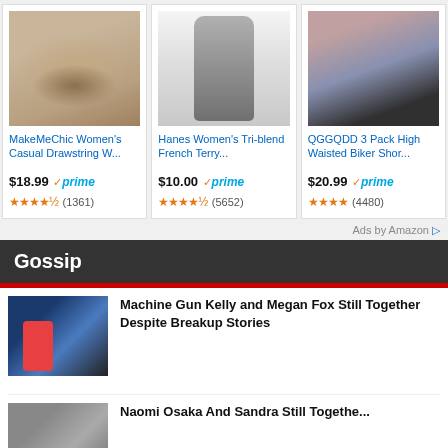[Figure (photo): Amazon ad: MakeMeChic Women's Casual Drawstring shorts, brown/taupe, $18.99, Prime, 4.5 stars (1361 reviews)]
[Figure (photo): Amazon ad: Hanes Women's Tri-blend French Terry jogger pants, grey, $10.00, Prime, 4.5 stars (5652 reviews)]
[Figure (photo): Amazon ad: QGGQDD 3 Pack High Waisted Biker Shorts, multicolor pack (pink, navy, black), $20.99, Prime, 4 stars (4480 reviews)]
Ads by Amazon
Gossip
[Figure (photo): Thumbnail image for gossip article: Machine Gun Kelly and Megan Fox walking together outdoors, colorful outfits]
Machine Gun Kelly and Megan Fox Still Together Despite Breakup Stories
[Figure (photo): Thumbnail image for second gossip article (partially visible)]
Naomi Osaka And Sandra Still Togethe…